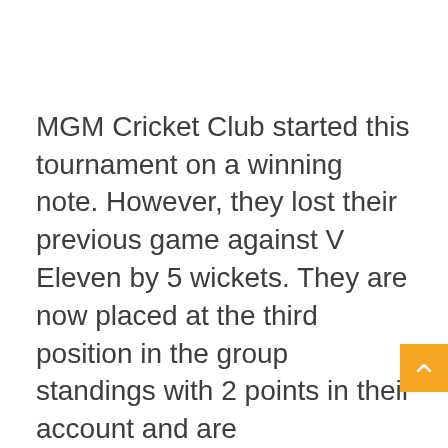MGM Cricket Club started this tournament on a winning note. However, they lost their previous game against V Eleven by 5 wickets. They are now placed at the third position in the group standings with 2 points in their account and are